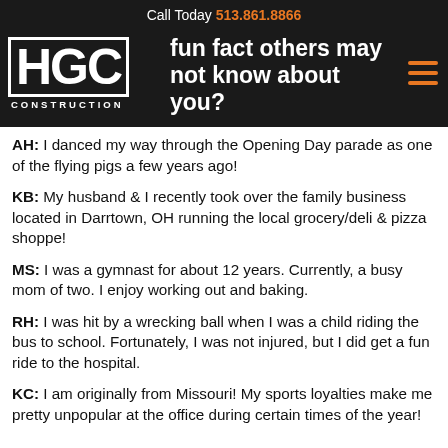Call Today 513.861.8866
What is a fun fact others may not know about you?
AH: I danced my way through the Opening Day parade as one of the flying pigs a few years ago!
KB: My husband & I recently took over the family business located in Darrtown, OH running the local grocery/deli & pizza shoppe!
MS: I was a gymnast for about 12 years. Currently, a busy mom of two. I enjoy working out and baking.
RH: I was hit by a wrecking ball when I was a child riding the bus to school. Fortunately, I was not injured, but I did get a fun ride to the hospital.
KC: I am originally from Missouri! My sports loyalties make me pretty unpopular at the office during certain times of the year!